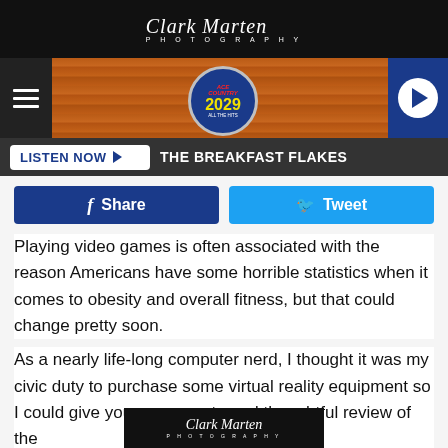Clark Marten Photography
[Figure (screenshot): Website banner with hamburger menu, radio station logo badge for 2029, and play button on blue background]
LISTEN NOW ▶   THE BREAKFAST FLAKES
Share   Tweet
Playing video games is often associated with the reason Americans have some horrible statistics when it comes to obesity and overall fitness, but that could change pretty soon.
As a nearly life-long computer nerd, I thought it was my civic duty to purchase some virtual reality equipment so I could give you an accurate and thoughtful review of the
Clark Marten Photography